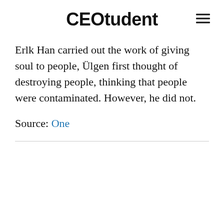CEOtudent
Erlk Han carried out the work of giving soul to people, Ülgen first thought of destroying people, thinking that people were contaminated. However, he did not.
Source: One